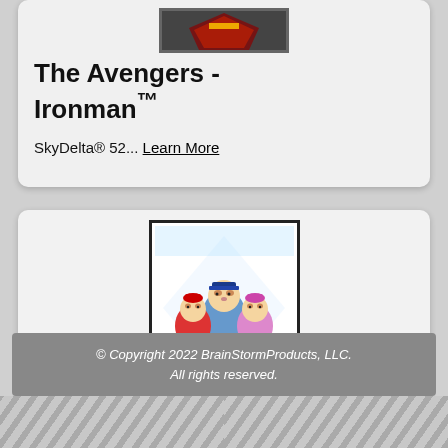[Figure (illustration): Partial product card showing The Avengers Ironman kite product with image placeholder at top]
The Avengers - Ironman™
SkyDelta® 52... Learn More
[Figure (illustration): Paw Patrol characters including Marshall, Chase, and Skye on a kite-shaped background, shown in a square white frame with dark border]
Paw Patrol
SkyDelta® 52... Learn More
© Copyright 2022 BrainStormProducts, LLC. All rights reserved.